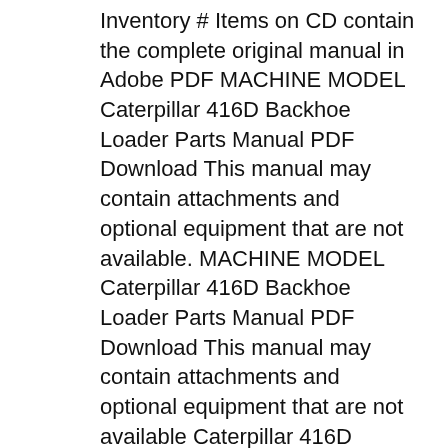Inventory # Items on CD contain the complete original manual in Adobe PDF MACHINE MODEL Caterpillar 416D Backhoe Loader Parts Manual PDF Download This manual may contain attachments and optional equipment that are not available. MACHINE MODEL Caterpillar 416D Backhoe Loader Parts Manual PDF Download This manual may contain attachments and optional equipment that are not available Caterpillar 416D BACKHOE LOADER
Caterpillar 416e 422e And 428e Backhoe Loaders Hydraulic System pdf manufactured by the company CATERPILLAR presented for you in electronic format Page size 612 x 792